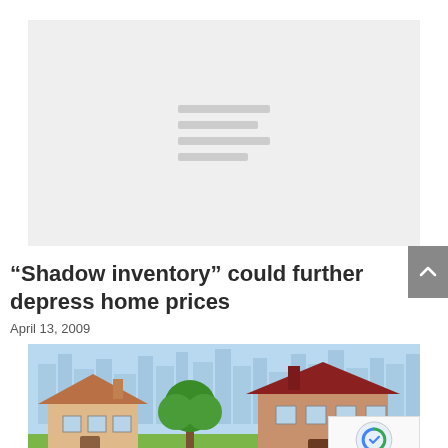[Figure (other): Light gray placeholder image with horizontal loading lines in the center]
“Shadow inventory” could further depress home prices
April 13, 2009
[Figure (illustration): Illustration of neighborhood houses with trees and city skyline in background]